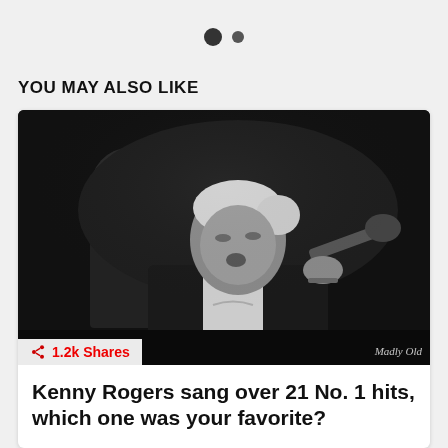[Figure (other): Two navigation dots — one large filled dark circle and one smaller dark circle, indicating a carousel or slideshow position indicator]
YOU MAY ALSO LIKE
[Figure (photo): Black and white photo of Kenny Rogers performing on stage, singing into a microphone, wearing a dark suit with white shirt open at the collar. Another performer visible in the background. Watermark reading 'Madly Old' in bottom right corner. Share badge showing '1.2k Shares' in bottom left.]
Kenny Rogers sang over 21 No. 1 hits, which one was your favorite?